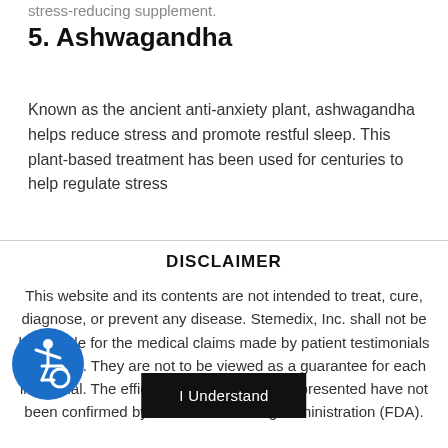stress-reducing supplement.
5. Ashwagandha
Known as the ancient anti-anxiety plant, ashwagandha helps reduce stress and promote restful sleep. This plant-based treatment has been used for centuries to help regulate stress
DISCLAIMER
This website and its contents are not intended to treat, cure, diagnose, or prevent any disease. Stemedix, Inc. shall not be held liable for the medical claims made by patient testimonials or videos. They are not to be viewed as a guarantee for each individual. The efficacy for some products presented have not been confirmed by the Food and Drug Administration (FDA).